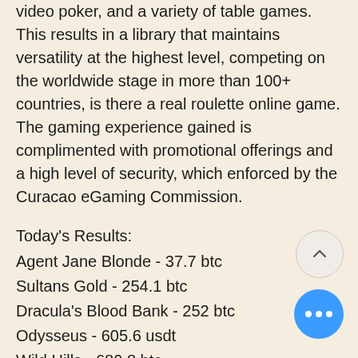video poker, and a variety of table games. This results in a library that maintains versatility at the highest level, competing on the worldwide stage in more than 100+ countries, is there a real roulette online game. The gaming experience gained is complimented with promotional offerings and a high level of security, which enforced by the Curacao eGaming Commission.
Today's Results:
Agent Jane Blonde - 37.7 btc
Sultans Gold - 254.1 btc
Dracula's Blood Bank - 252 btc
Odysseus - 605.6 usdt
Wild Hills - 680.8 btc
Gladiator Jackpot - 512.2 btc
Wheel of Cash - 612.6 ltc
Battle of the Gods - 363.8 ltc
Mighty Kraken - 480.2 usdt
Pyramid Treasure - 649.6 ltc